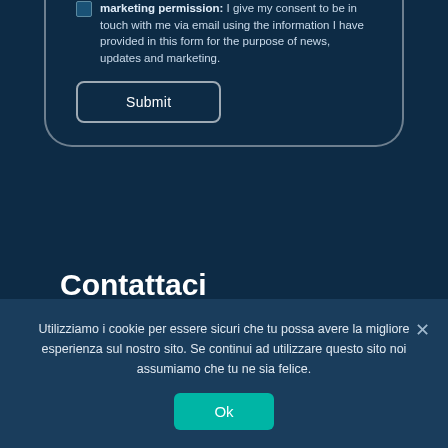marketing permission: I give my consent to be in touch with me via email using the information I have provided in this form for the purpose of news, updates and marketing.
Submit
Contattaci
Telefono: +39 0917848236
Utilizziamo i cookie per essere sicuri che tu possa avere la migliore esperienza sul nostro sito. Se continui ad utilizzare questo sito noi assumiamo che tu ne sia felice.
Ok